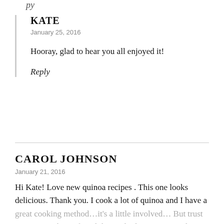py
KATE
January 25, 2016
Hooray, glad to hear you all enjoyed it!
Reply
CAROL JOHNSON
January 21, 2016
Hi Kate! Love new quinoa recipes . This one looks delicious. Thank you. I cook a lot of quinoa and I have a great cooking method…it's a little involved… But trust me, it's worth it. I found the method year's ago and